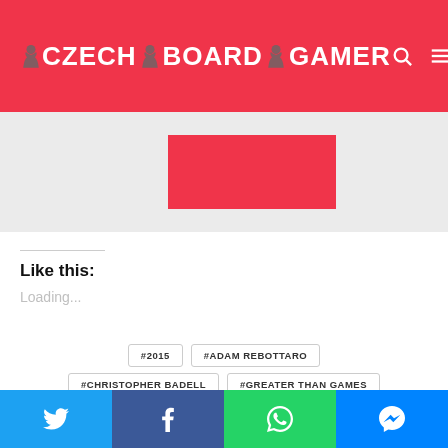CZECH BOARD GAMER
[Figure (other): Partial image with red/pink rectangle on gray background]
Like this:
Loading...
#2015
#ADAM REBOTTARO
#CHRISTOPHER BADELL
#GREATER THAN GAMES
TAGS #PAUL BENDER #SENTINELS OF THE MULTIVERSE
Twitter | Facebook | WhatsApp | Messenger